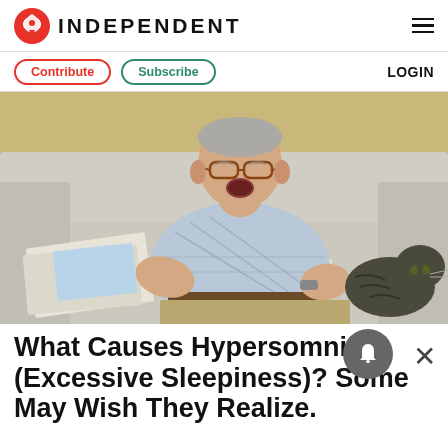INDEPENDENT
Contribute   Subscribe   LOGIN
[Figure (photo): An older man with glasses sitting on a sofa, mouth open as if yawning or sleeping, holding a newspaper, with a cat beside him.]
What Causes Hypersomnia (Excessive Sleepiness)? Some May Wish They Realize.